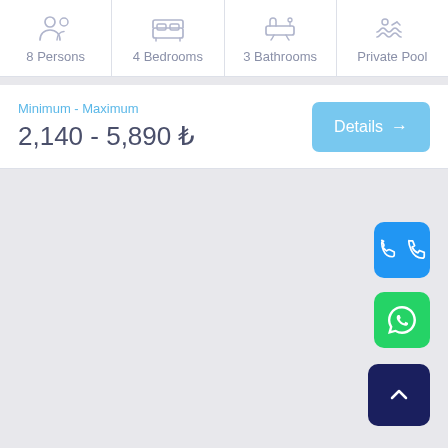[Figure (infographic): Four property features displayed as icon+label cells: 8 Persons, 4 Bedrooms, 3 Bathrooms, Private Pool]
Minimum - Maximum
2,140 - 5,890 ₺
[Figure (other): Details button with right arrow]
[Figure (other): Phone call FAB button (blue)]
[Figure (other): WhatsApp FAB button (green)]
[Figure (other): Scroll-to-top FAB button (dark navy)]